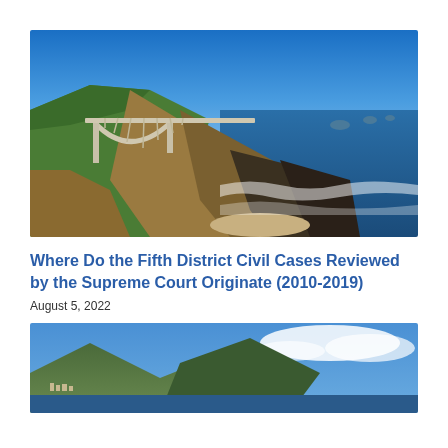[Figure (photo): Coastal California highway bridge (Bixby Creek Bridge) over rocky cliffs with blue ocean and sky in background]
Where Do the Fifth District Civil Cases Reviewed by the Supreme Court Originate (2010-2019)
August 5, 2022
[Figure (photo): Coastal California mountain landscape with blue sky, clouds, and ocean visible]